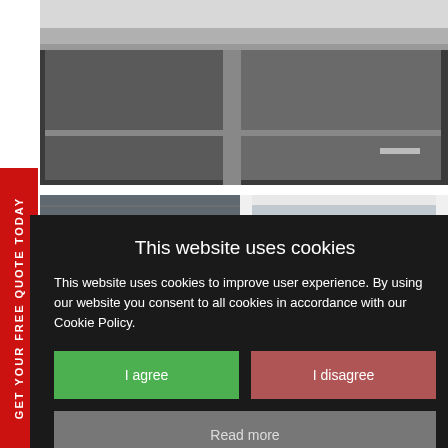[Figure (photo): Close-up of dark-framed window or sliding door panels with grey trim, viewed from inside]
[Figure (photo): Exterior view of white-framed windows with venetian blinds, seen from outside]
GET YOUR FREE QUOTE TODAY
This website uses cookies
This website uses cookies to improve user experience. By using our website you consent to all cookies in accordance with our Cookie Policy.
I agree
I disagree
Read more